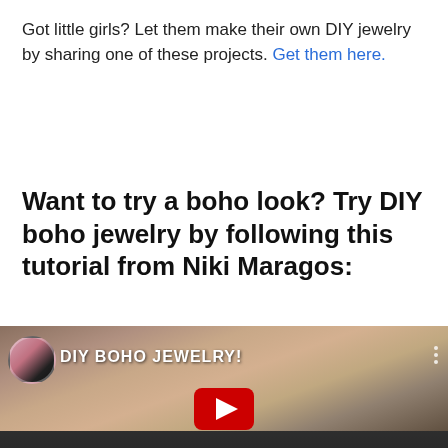Got little girls? Let them make their own DIY jewelry by sharing one of these projects. Get them here.
Want to try a boho look? Try DIY boho jewelry by following this tutorial from Niki Maragos:
[Figure (screenshot): YouTube video thumbnail showing a young woman with blonde hair and a hat, with text 'DIY BOHO JEWELRY!' overlaid and a play button at the bottom center, and a small avatar circle in the top left corner]
Share This